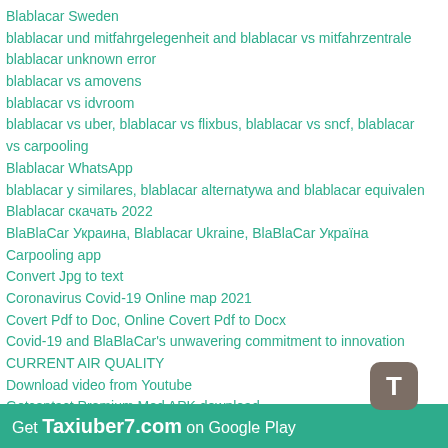Blablacar Sweden
blablacar und mitfahrgelegenheit and blablacar vs mitfahrzentrale
blablacar unknown error
blablacar vs amovens
blablacar vs idvroom
blablacar vs uber, blablacar vs flixbus, blablacar vs sncf, blablacar vs carpooling
Blablacar WhatsApp
blablacar y similares, blablacar alternatywa and blablacar equivalent
Blablacar скачать 2022
BlaBlaCar Украина, Blablacar Ukraine, BlaBlaCar Україна
Carpooling app
Convert Jpg to text
Coronavirus Covid-19 Online map 2021
Covert Pdf to Doc, Online Covert Pdf to Docx
Covid-19 and BlaBlaCar's unwavering commitment to innovation
CURRENT AIR QUALITY
Download video from Youtube
Getcontact Premium Mod APK download
happy birthday 2020, Ad gunu sekilleri 2020, Toy sekilleri 2020, С днем рождения 2020, toy şəkilləri 2020, ad günü şəkilləri 2020,
wedding dresses 2020, wedding crashers, wedding wishes messages,
wedding anniversary wishes, wedding rings sets 2020, wedding
guest dresses, wedding
shoes for women, wedding invitation card 2020, wedding planner
Get Taxiuber7.com on Google Play